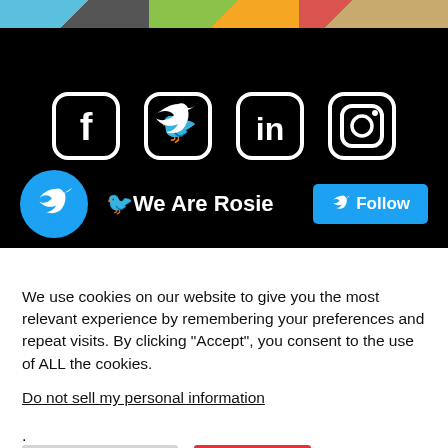[Figure (screenshot): Top image strip with three partial image thumbnails — blue/grey, green/yellow, red/tan.]
[Figure (illustration): Social media icons for Facebook, Twitter, LinkedIn, and Instagram rendered in white on black background.]
[Figure (screenshot): Twitter follow widget showing Twitter bird avatar circle, account name 'We Are Rosie', and a blue Follow button.]
We use cookies on our website to give you the most relevant experience by remembering your preferences and repeat visits. By clicking “Accept”, you consent to the use of ALL the cookies.
Do not sell my personal information.
Cookie Settings
Accept